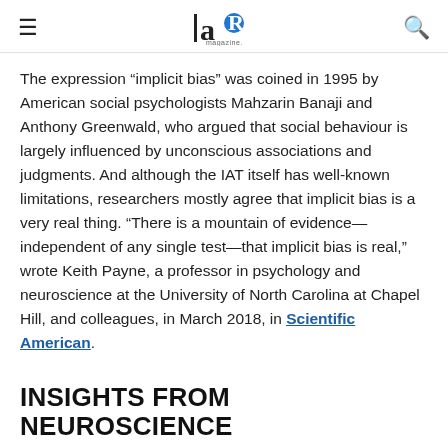≡  [logo: aR magazine]  🔍
The expression "implicit bias" was coined in 1995 by American social psychologists Mahzarin Banaji and Anthony Greenwald, who argued that social behaviour is largely influenced by unconscious associations and judgments. And although the IAT itself has well-known limitations, researchers mostly agree that implicit bias is a very real thing. "There is a mountain of evidence—independent of any single test—that implicit bias is real," wrote Keith Payne, a professor in psychology and neuroscience at the University of North Carolina at Chapel Hill, and colleagues, in March 2018, in Scientific American.
INSIGHTS FROM NEUROSCIENCE